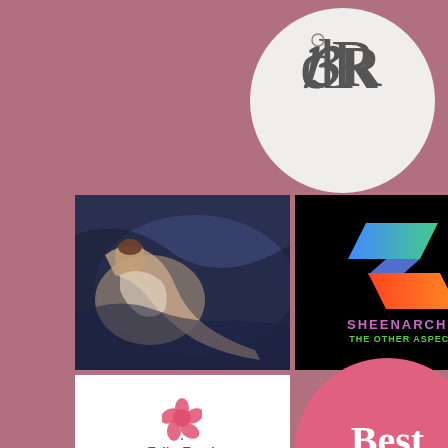[Figure (logo): Circular white logo with ornate gothic letters OR (or DR) monogram in dark grey serif font]
[Figure (illustration): Rococo-style painting of reclining female nude on blue drapery fabric, classical European art style]
[Figure (logo): Sheenarchy logo on black background: stylized S-shape in blue, green, red, orange gradient parallelogram shapes. Text: SHEENARCHY / THE OTHER ASPECT in purple and green]
[Figure (logo): White box with pink flower/tulip icon and partial brand name text below]
[Figure (logo): Pink/mauve rounded circle with word 'Best' in large white serif font and small text below]